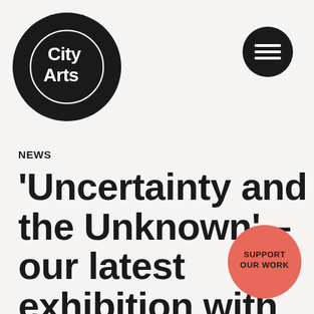[Figure (logo): City Arts logo: large black circle with white text 'City Arts' and a white inner circle outline]
[Figure (illustration): Hamburger menu icon: black circle with three white horizontal lines]
NEWS
'Uncertainty and the Unknown' – our latest exhibition with the Institute of
[Figure (illustration): Coral/salmon colored circle badge with bold text 'SUPPORT OUR WORK']